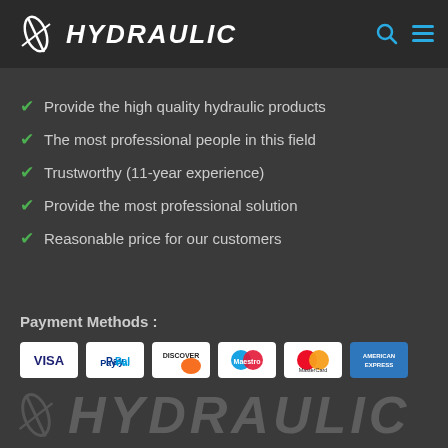HYDRAULIC
Provide the high quality hydraulic products
The most professional people in this field
Trustworthy (11-year experience)
Provide the most professional solution
Reasonable price for our customers
Payment Methods :
[Figure (other): Payment method logos: VISA, PayPal, DISCOVER, Maestro, MasterCard, American Express]
[Figure (logo): HYDRAULIC company logo in grey at bottom of page]